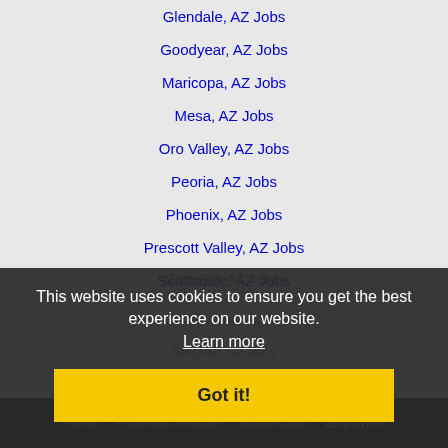Glendale, AZ Jobs
Goodyear, AZ Jobs
Maricopa, AZ Jobs
Mesa, AZ Jobs
Oro Valley, AZ Jobs
Peoria, AZ Jobs
Phoenix, AZ Jobs
Prescott Valley, AZ Jobs
Scottsdale, AZ Jobs
Sun City, AZ Jobs
Sun City West, AZ Jobs
Surprise, AZ Jobs
Tempe, AZ Jobs
Tucson, AZ Jobs
This website uses cookies to ensure you get the best experience on our website. Learn more
Got it!
Home  Profile and Resume  Browse Jobs  Employers